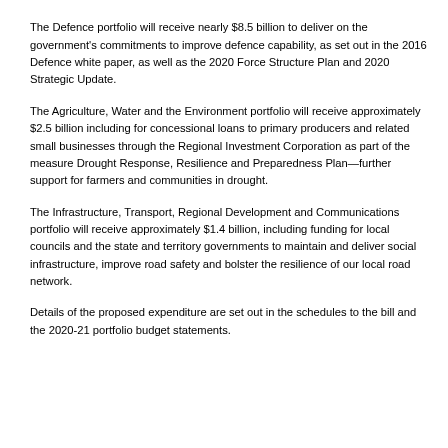bill.
The Defence portfolio will receive nearly $8.5 billion to deliver on the government's commitments to improve defence capability, as set out in the 2016 Defence white paper, as well as the 2020 Force Structure Plan and 2020 Strategic Update.
The Agriculture, Water and the Environment portfolio will receive approximately $2.5 billion including for concessional loans to primary producers and related small businesses through the Regional Investment Corporation as part of the measure Drought Response, Resilience and Preparedness Plan—further support for farmers and communities in drought.
The Infrastructure, Transport, Regional Development and Communications portfolio will receive approximately $1.4 billion, including funding for local councils and the state and territory governments to maintain and deliver social infrastructure, improve road safety and bolster the resilience of our local road network.
Details of the proposed expenditure are set out in the schedules to the bill and the 2020-21 portfolio budget statements.